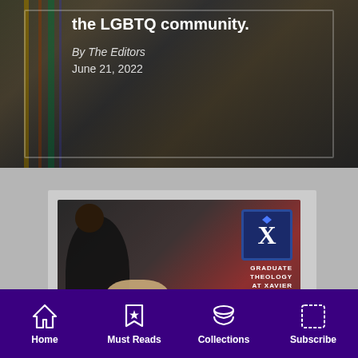the LGBTQ community.
By The Editors
June 21, 2022
[Figure (photo): Advertisement for Graduate Theology at Xavier University showing people holding hands, with text 'Study Spirituality and Social Justice, 100% Online Option, Learn More']
Home | Must Reads | Collections | Subscribe